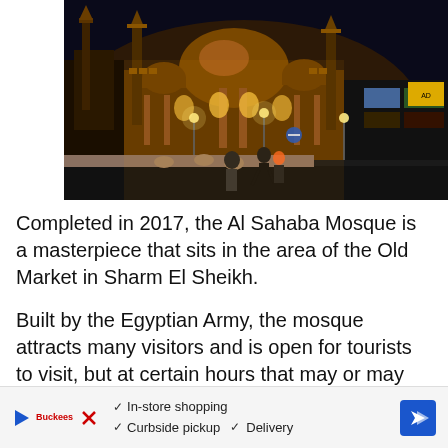[Figure (photo): Night photograph of the Al Sahaba Mosque in Sharm El Sheikh, illuminated in golden/orange light. The ornate mosque with domes and minarets is visible, along with street lights, pedestrians, and commercial signs in the background.]
Completed in 2017, the Al Sahaba Mosque is a masterpiece that sits in the area of the Old Market in Sharm El Sheikh.
Built by the Egyptian Army, the mosque attracts many visitors and is open for tourists to visit, but at certain hours that may or may not be changed
[Figure (other): Advertisement bar showing a store icon with play button, X button, a red brand logo (Buckees), checkmarks for In-store shopping, Curbside pickup, Delivery, and a blue diamond-shaped navigation arrow.]